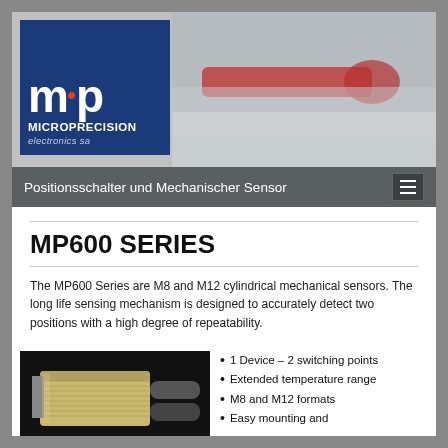[Figure (logo): Microprecision Electronics SA logo — blue box with 'mp' letters and company name]
[Figure (photo): Header banner photo showing cylindrical mechanical sensors against a grey background]
Positionsschalter und Mechanischer Sensor
MP600 SERIES
The MP600 Series are M8 and M12 cylindrical mechanical sensors. The long life sensing mechanism is designed to accurately detect two positions with a high degree of repeatability.
[Figure (photo): Product photo of MP600 series cylindrical mechanical sensor with threaded body on dark background]
1 Device – 2 switching points
Extended temperature range
M8 and M12 formats
Easy mounting and